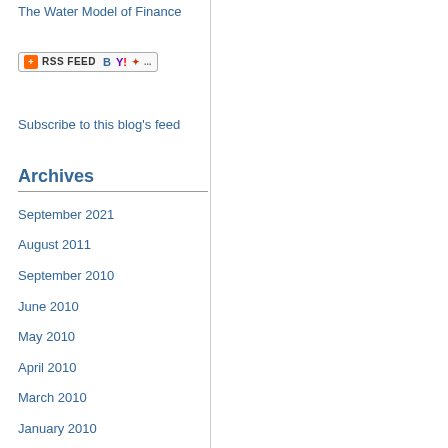The Water Model of Finance
[Figure (other): RSS Feed subscription button with RSS icon, Bloglines icon, Yahoo icon, and additional feed icons]
Subscribe to this blog's feed
Archives
September 2021
August 2011
September 2010
June 2010
May 2010
April 2010
March 2010
January 2010
December 2009
November 2009